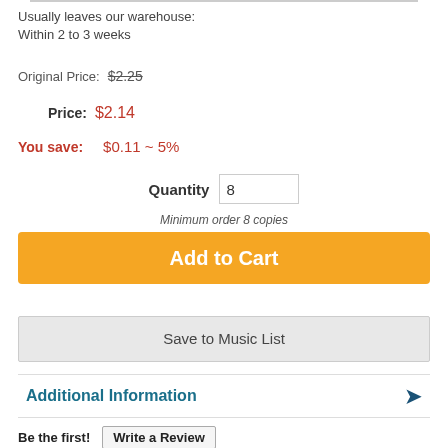Usually leaves our warehouse:
Within 2 to 3 weeks
Original Price: $2.25
Price: $2.14
You save: $0.11 ~ 5%
Quantity 8
Minimum order 8 copies
Add to Cart
Save to Music List
Additional Information
Be the first! Write a Review